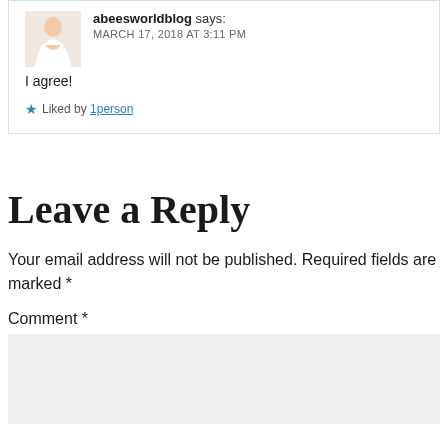abeesworldblog says: MARCH 17, 2018 AT 3:11 PM — I agree! — Liked by 1person
Leave a Reply
Your email address will not be published. Required fields are marked *
Comment *